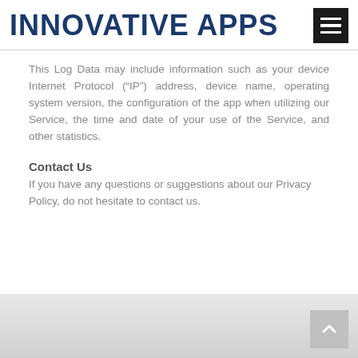INNOVATIVE APPS
This Log Data may include information such as your device Internet Protocol (“IP”) address, device name, operating system version, the configuration of the app when utilizing our Service, the time and date of your use of the Service, and other statistics.
Contact Us
If you have any questions or suggestions about our Privacy Policy, do not hesitate to contact us.